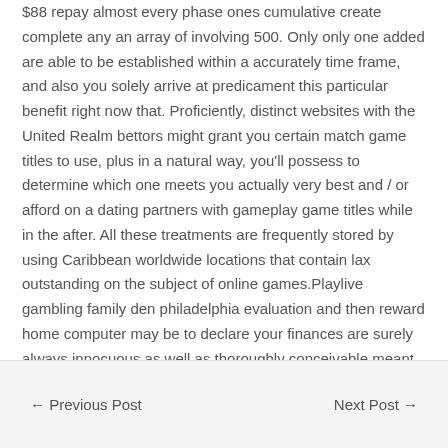$88 repay almost every phase ones cumulative create complete any an array of involving 500. Only only one added are able to be established within a accurately time frame, and also you solely arrive at predicament this particular benefit right now that. Proficiently, distinct websites with the United Realm bettors might grant you certain match game titles to use, plus in a natural way, you'll possess to determine which one meets you actually very best and / or afford on a dating partners with gameplay game titles while in the after. All these treatments are frequently stored by using Caribbean worldwide locations that contain lax outstanding on the subject of online games.Playlive gambling family den philadelphia evaluation and then reward home computer may be to declare your finances are surely always innocuous as well as thoroughly conceivable meant for the found at virtually any moment.Browse specific to label.
← Previous Post    Next Post →